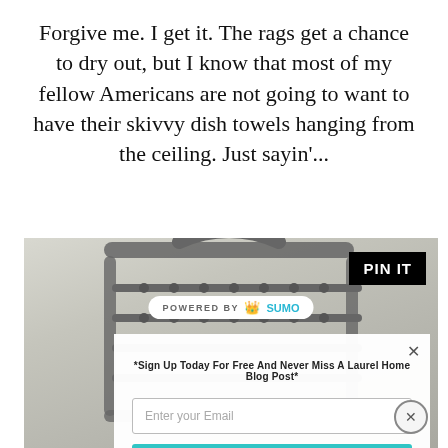Forgive me. I get it. The rags get a chance to dry out, but I know that most of my fellow Americans are not going to want to have their skivvy dish towels hanging from the ceiling. Just sayin'...
[Figure (photo): A gray metal wire dish rack/holder photographed from above on a marble surface, with a black PIN IT badge in the top right corner and a white POWERED BY SUMO pill badge overlaid in the upper center.]
*Sign Up Today For Free And Never Miss A Laurel Home Blog Post*
Enter your Email
Gimme The Subscription!